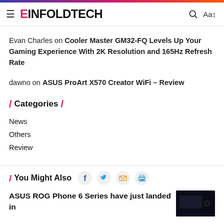EINFOLDTECH
Evan Charles on Cooler Master GM32-FQ Levels Up Your Gaming Experience With 2K Resolution and 165Hz Refresh Rate
dawno on ASUS ProArt X570 Creator WiFi – Review
/ Categories /
News
Others
Review
/ You Might Also
ASUS ROG Phone 6 Series have just landed in